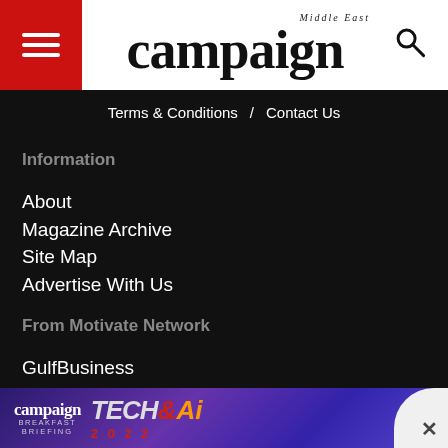campaign Middle East
Terms & Conditions / Contact Us
Information
About
Magazine Archive
Site Map
Advertise With Us
From Motivate Network
GulfBusiness
EmiratesWoman
WhatsOn.Ae
Golfdigestme.Com
Dubai...
[Figure (screenshot): Campaign Tech & AI Breakfast Briefing advertisement banner at the bottom of the page]